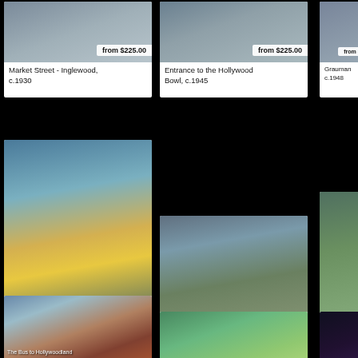[Figure (photo): Market Street - Inglewood vintage photo with price badge 'from $225.00']
Market Street - Inglewood, c.1930
[Figure (photo): Entrance to the Hollywood Bowl vintage photo with price badge 'from $225.00']
Entrance to the Hollywood Bowl, c.1945
[Figure (photo): Grauman's partial card with price badge 'from $225.00']
Grauman c.1948
[Figure (photo): Big Rock Cafe Revisited vintage photo with price badge 'from $225.00', label 'Big Rock Cafe']
Big Rock Cafe Revisited, c.1955
[Figure (photo): Big Bear Village vintage photo with price badge 'from $225.00', label 'The Village at B...']
Big Bear Village, c.1950
[Figure (photo): Bear Creek partial card]
Bear Cre...
[Figure (photo): The Bus to Hollywood vintage photo, label 'The Bus to Hollywoodland']
[Figure (photo): Palm tree resort scene vintage photo]
[Figure (photo): Josephine performer photo, label 'Josephine']